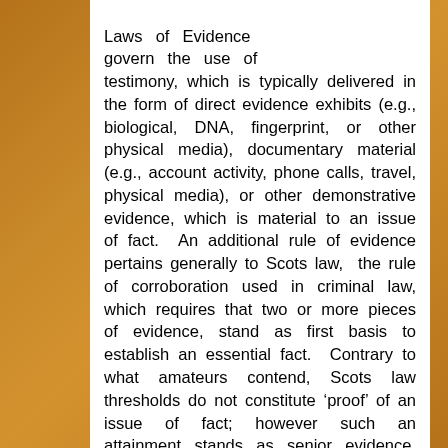Laws of Evidence govern the use of testimony, which is typically delivered in the form of direct evidence exhibits (e.g., biological, DNA, fingerprint, or other physical media), documentary material (e.g., account activity, phone calls, travel, physical media), or other demonstrative evidence, which is material to an issue of fact.  An additional rule of evidence pertains generally to Scots law,  the rule of corroboration used in criminal law, which requires that two or more pieces of evidence, stand as first basis to establish an essential fact.  Contrary to what amateurs contend, Scots law thresholds do not constitute ‘proof’ of an issue of fact; however such an attainment stands as senior evidence, until stronger evidence suppla[flags]